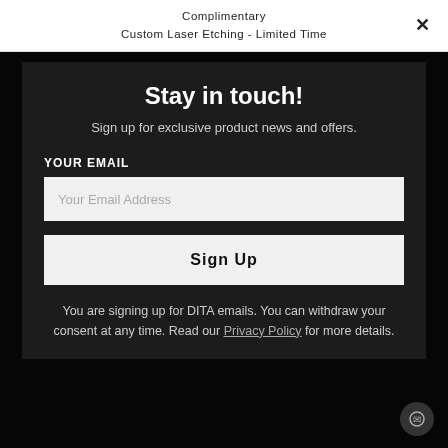Complimentary
Custom Laser Etching - Limited Time
Stay in touch!
Sign up for exclusive product news and offers.
YOUR EMAIL
Your Email Address
Sign Up
You are signing up for DITA emails. You can withdraw your consent at any time. Read our Privacy Policy for more details.